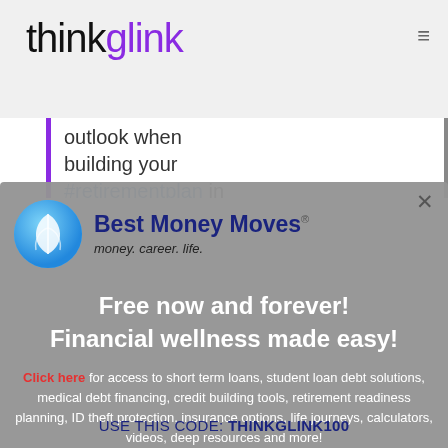[Figure (logo): ThinkGlink logo — 'think' in black, 'glink' in purple, lightweight sans-serif]
outlook when building your #retirementplan in
[Figure (screenshot): Best Money Moves advertisement modal — logo with blue leaf circle icon, 'Best Money Moves' in dark navy bold, 'money. career. life.' tagline, 'Free now and forever! Financial wellness made easy!' headline in white, body text with 'Click here' in red, USE THIS CODE: THINKGLINK100 at bottom]